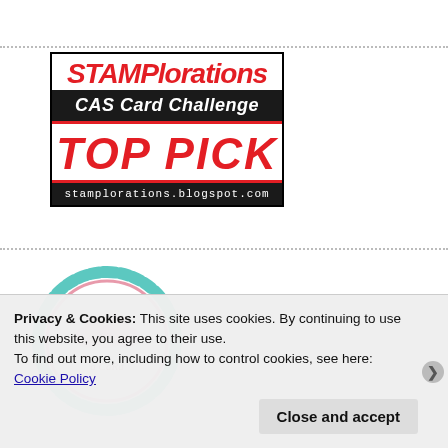[Figure (logo): STAMPlorations CAS Card Challenge TOP PICK badge. Red distressed text 'STAMPlorations' on white background, black bar with white italic text 'CAS Card Challenge', white area with large red bold italic text 'TOP PICK' between red horizontal bars, black bar at bottom with white monospace text 'stamplorations.blogspot.com']
[Figure (logo): Circular badge with teal scalloped border, pink floral illustration in center, decorative cursive text below flowers]
Privacy & Cookies: This site uses cookies. By continuing to use this website, you agree to their use.
To find out more, including how to control cookies, see here: Cookie Policy
Close and accept